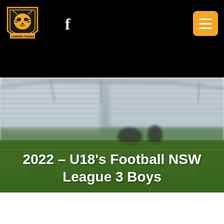[Figure (logo): Camden Tigers FC club crest/shield logo with tiger]
[Figure (other): Facebook 'f' icon in white on black navigation bar]
[Figure (other): Orange hamburger/menu button with three white lines]
[Figure (photo): Blurred stadium background with green football pitch in foreground]
2022 – U18's Football NSW League 3 Boys